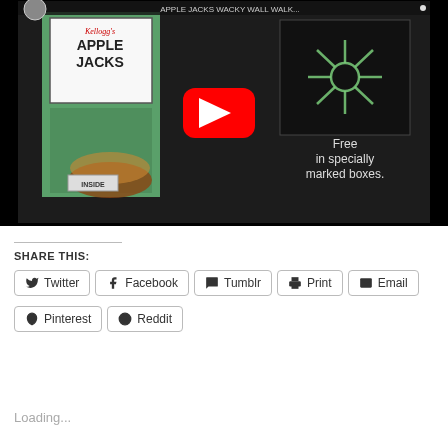[Figure (screenshot): YouTube video thumbnail showing an Apple Jacks (Kellogg's) cereal box commercial still. The scene shows a green Apple Jacks cereal box on the left and text 'Free in specially marked boxes.' on the right against a dark background. A red YouTube play button is centered over the image. A small circular avatar is in the top-left corner.]
SHARE THIS:
Twitter
Facebook
Tumblr
Print
Email
Pinterest
Reddit
Loading...